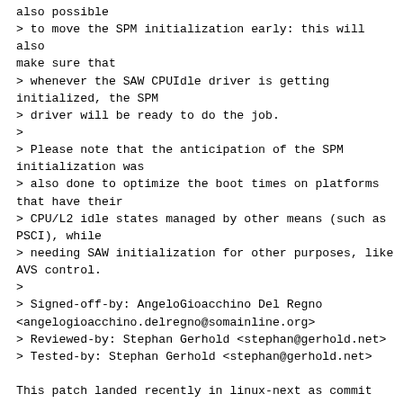also possible
> to move the SPM initialization early: this will also make sure that
> whenever the SAW CPUIdle driver is getting initialized, the SPM
> driver will be ready to do the job.
>
> Please note that the anticipation of the SPM initialization was
> also done to optimize the boot times on platforms that have their
> CPU/L2 idle states managed by other means (such as PSCI), while
> needing SAW initialization for other purposes, like AVS control.
>
> Signed-off-by: AngeloGioacchino Del Regno <angelogioacchino.delregno@somainline.org>
> Reviewed-by: Stephan Gerhold <stephan@gerhold.net>
> Tested-by: Stephan Gerhold <stephan@gerhold.net>

This patch landed recently in linux-next as commit 60f3692b5f0b
("cpuidle: qcom_spm: Detach state machine from main SPM handling"). It
looks that it was not tested on non-qcom boards, because it
unconditionally registers 'qcom-spm-cpuidle' on all boards, what is a
bit annoying, especially when kernel is compiled from